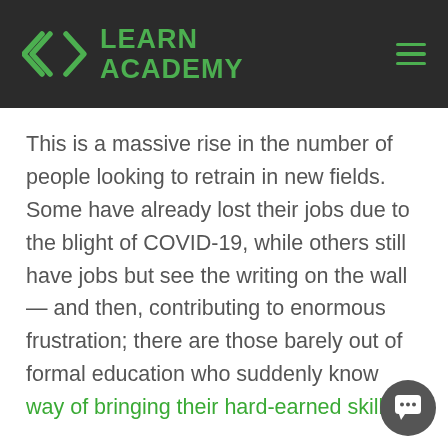LEARN ACADEMY
This is a massive rise in the number of people looking to retrain in new fields. Some have already lost their jobs due to the blight of COVID-19, while others still have jobs but see the writing on the wall — and then, contributing to enormous frustration; there are those barely out of formal education who suddenly know way of bringing their hard-earned skills to